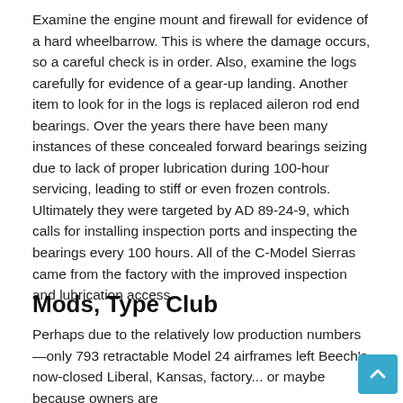Examine the engine mount and firewall for evidence of a hard wheelbarrow. This is where the damage occurs, so a careful check is in order. Also, examine the logs carefully for evidence of a gear-up landing. Another item to look for in the logs is replaced aileron rod end bearings. Over the years there have been many instances of these concealed forward bearings seizing due to lack of proper lubrication during 100-hour servicing, leading to stiff or even frozen controls. Ultimately they were targeted by AD 89-24-9, which calls for installing inspection ports and inspecting the bearings every 100 hours. All of the C-Model Sierras came from the factory with the improved inspection and lubrication access.
Mods, Type Club
Perhaps due to the relatively low production numbers—only 793 retractable Model 24 airframes left Beech's now-closed Liberal, Kansas, factory... or maybe because owners are